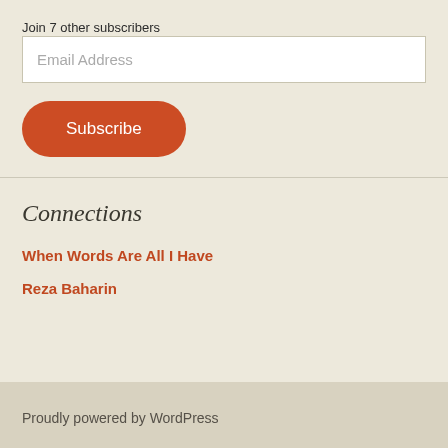Join 7 other subscribers
Email Address
Subscribe
Connections
When Words Are All I Have
Reza Baharin
Proudly powered by WordPress